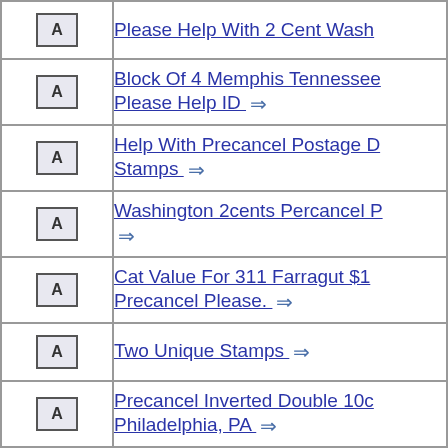| Icon | Link |
| --- | --- |
| A | Please Help With 2 Cent Wash → |
| A | Block Of 4 Memphis Tennessee … Please Help ID → |
| A | Help With Precancel Postage D… Stamps → |
| A | Washington 2cents Percancel … → |
| A | Cat Value For 311 Farragut $1 … Precancel Please. → |
| A | Two Unique Stamps → |
| A | Precancel Inverted Double 10c … Philadelphia, PA → |
| A | Upside Down Precancel → |